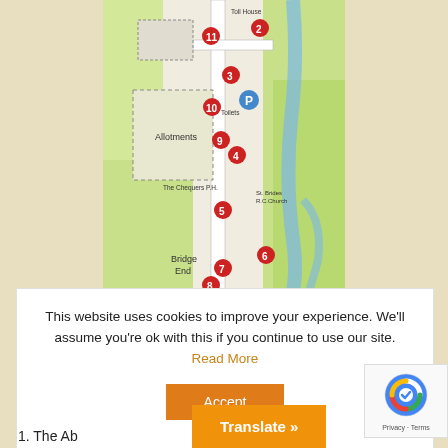[Figure (map): A hand-drawn style map showing numbered red pin markers (2-11) at various locations including Toll House, Allotments, Toilets, The Chequers P.H., St. Brides R.C. Church, and Bridge End. A blue P (parking) marker is visible. Green areas represent fields/countryside. A blue river runs on the right side.]
This website uses cookies to improve your experience. We'll assume you're ok with this if you continue to use our site. Read More
Accept
Translate »
1. The Ab...